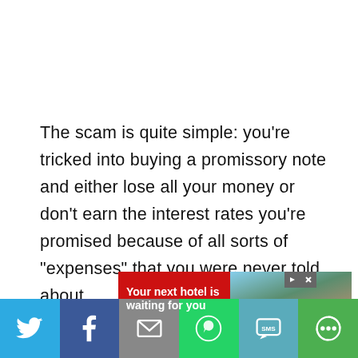The scam is quite simple: you're tricked into buying a promissory note and either lose all your money or don't earn the interest rates you're promised because of all sorts of "expenses" that you were never told about.
[Figure (screenshot): Advertisement banner showing 'Your next hotel is waiting for you' with a red background and a photo of a mountain/resort landscape]
[Figure (infographic): Social sharing bar with icons for Twitter, Facebook, Email, WhatsApp, SMS, and More]